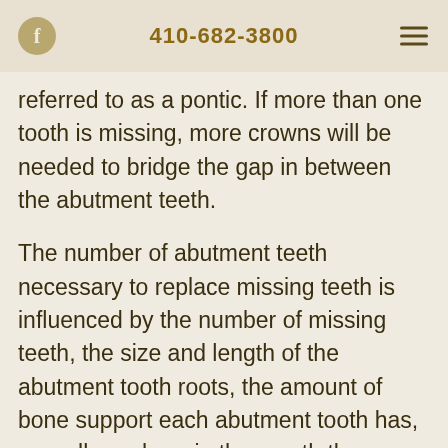410-682-3800
referred to as a pontic. If more than one tooth is missing, more crowns will be needed to bridge the gap in between the abutment teeth.
The number of abutment teeth necessary to replace missing teeth is influenced by the number of missing teeth, the size and length of the abutment tooth roots, the amount of bone support each abutment tooth has, as well as where in the mouth the missing tooth is located. For example, if you have three missing teeth, four abutment teeth may be necessary, thereby creating a seven